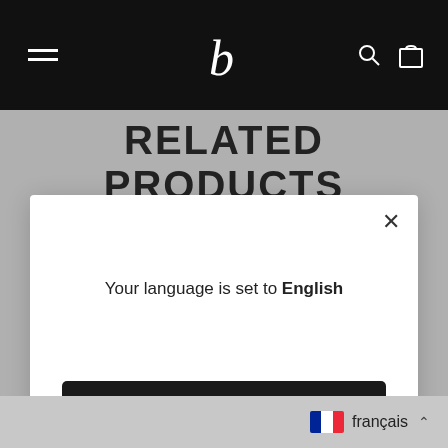b [logo] — navigation bar with hamburger menu, search and bag icons
RELATED PRODUCTS
Your language is set to English
Shop in English
Change language
français